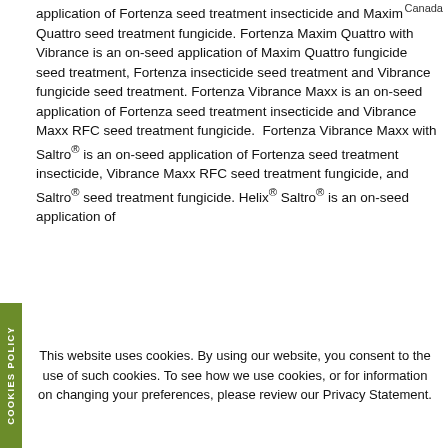Canada
application of Fortenza seed treatment insecticide and Maxim Quattro seed treatment fungicide. Fortenza Maxim Quattro with Vibrance is an on-seed application of Maxim Quattro fungicide seed treatment, Fortenza insecticide seed treatment and Vibrance fungicide seed treatment. Fortenza Vibrance Maxx is an on-seed application of Fortenza seed treatment insecticide and Vibrance Maxx RFC seed treatment fungicide.  Fortenza Vibrance Maxx with Saltro® is an on-seed application of Fortenza seed treatment insecticide, Vibrance Maxx RFC seed treatment fungicide, and Saltro® seed treatment fungicide. Helix® Saltro® is an on-seed application of Helix Vibrance Seed Treatment fungicide/insecticide
This website uses cookies. By using our website, you consent to the use of such cookies. To see how we use cookies, or for information on changing your preferences, please review our Privacy Statement.